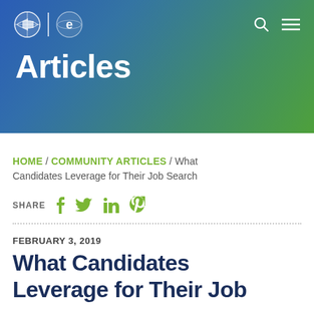[Figure (screenshot): Website header banner with gradient background (blue to green), logo with globe and 'e' icons, search and menu icons, and 'Articles' text in white]
Articles
HOME / COMMUNITY ARTICLES / What Candidates Leverage for Their Job Search
SHARE [social icons: Facebook, Twitter, LinkedIn, Pinterest]
FEBRUARY 3, 2019
What Candidates Leverage for Their Job